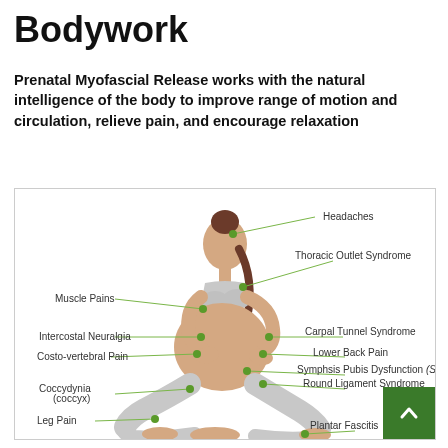Bodywork
Prenatal Myofascial Release works with the natural intelligence of the body to improve range of motion and circulation, relieve pain, and encourage relaxation
[Figure (illustration): Diagram of a pregnant woman sitting cross-legged in meditation pose, with green dots and lines pointing to various body parts labeled: Headaches, Thoracic Outlet Syndrome, Muscle Pains, Intercostal Neuralgia, Costo-vertebral Pain, Carpal Tunnel Syndrome, Lower Back Pain, Symphsis Pubis Dysfunction (SPD), Round Ligament Syndrome, Coccydynia (coccyx), Leg Pain, Plantar Fascitis. A green back-to-top button is in the bottom right corner.]